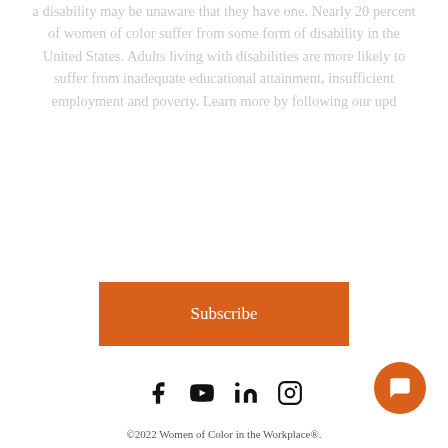a disability may be unaware that they have one. Nearly 20 percent of women of color suffer from some form of disability in the United States. Adults living with disabilities are more likely to suffer from inadequate educational attainment, insufficient employment and poverty. Learn more by following our upd
Subscribe
[Figure (other): Social media icons: Facebook, YouTube, LinkedIn, Instagram]
©2022 Women of Color in the Workplace®.